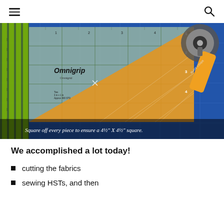Navigation menu and search icon
[Figure (photo): Photo of quilting tools: an Omnigrip ruler with green grid lines placed on a blue cutting mat, with orange and white patterned fabric visible beneath, and a rotary cutter in the upper right corner. Overlay caption reads: Square off every piece to ensure a 4½" X 4½" square.]
Square off every piece to ensure a 4½" X 4½" square.
We accomplished a lot today!
cutting the fabrics
sewing HSTs, and then